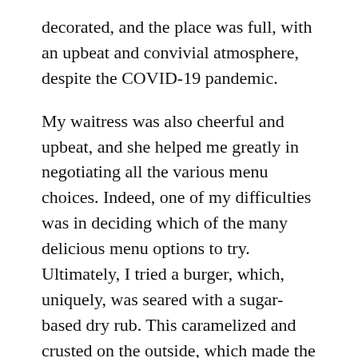decorated, and the place was full, with an upbeat and convivial atmosphere, despite the COVID-19 pandemic.
My waitress was also cheerful and upbeat, and she helped me greatly in negotiating all the various menu choices. Indeed, one of my difficulties was in deciding which of the many delicious menu options to try. Ultimately, I tried a burger, which, uniquely, was seared with a sugar-based dry rub. This caramelized and crusted on the outside, which made the burger absolutely amazing. It came with bacon and cheese on it, and nearly a whole plate of french fries. Afterwards, I enjoyed a slice of dark chocolate cake and a cup of coffee before heading back out to the square.
There was actually a live music concert on the court square as I was coming out of the restaurant, but it was country music, which is not my cup of tea, and it was